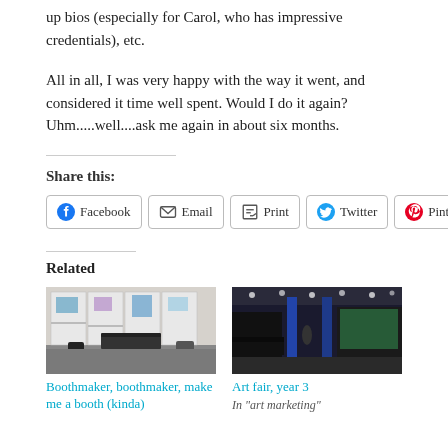up bios (especially for Carol, who has impressive credentials), etc.
All in all, I was very happy with the way it went, and considered it time well spent. Would I do it again? Uhm.....well....ask me again in about six months.
Share this:
Facebook  Email  Print  Twitter  Pinterest
Related
[Figure (photo): Interior shot of an art fair booth with display panels, glass shelves and artworks]
Boothmaker, boothmaker, make me a booth (kinda)
[Figure (photo): Interior shot of an art fair convention hall with booths and blue pillars]
Art fair, year 3
In "art marketing"